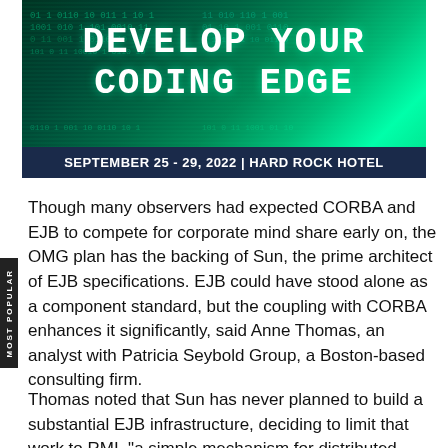[Figure (illustration): Conference banner with dark green matrix/code background. Title reads 'DEVELOP YOUR CODING EDGE' in large white monospace font. Bottom bar reads 'SEPTEMBER 25 - 29, 2022 | HARD ROCK HOTEL' in white bold text on dark navy background.]
Though many observers had expected CORBA and EJB to compete for corporate mind share early on, the OMG plan has the backing of Sun, the prime architect of EJB specifications. EJB could have stood alone as a component standard, but the coupling with CORBA enhances it significantly, said Anne Thomas, an analyst with Patricia Seybold Group, a Boston-based consulting firm.
Thomas noted that Sun has never planned to build a substantial EJB infrastructure, deciding to limit that work to RMI, "a simple mechanism for distributed processing in